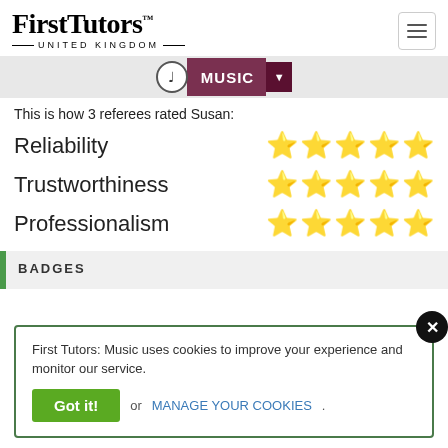FirstTutors™ UNITED KINGDOM
MUSIC
This is how 3 referees rated Susan:
Reliability ★★★★★
Trustworthiness ★★★★★
Professionalism ★★★★★
BADGES
First Tutors: Music uses cookies to improve your experience and monitor our service. Got it! or MANAGE YOUR COOKIES.